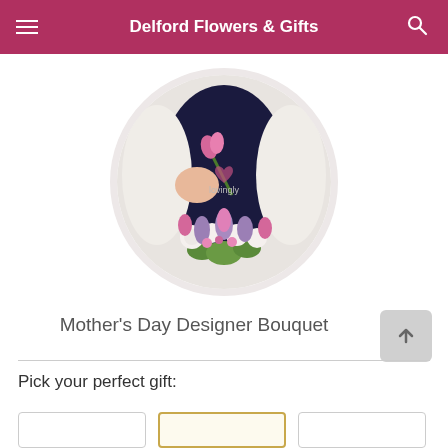Delford Flowers & Gifts
[Figure (photo): Circular cropped photo of a person holding a pink tulip and a bouquet of mixed flowers including white roses, purple hyacinths, and pink tulips, wearing a dark top with 'lovingly' text visible]
Mother's Day Designer Bouquet
Pick your perfect gift: